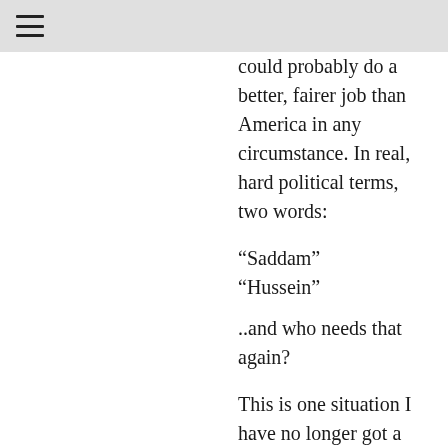≡
could probably do a better, fairer job than America in any circumstance. In real, hard political terms, two words:

“Saddam”
“Hussein”

..and who needs that again?

This is one situation I have no longer got a